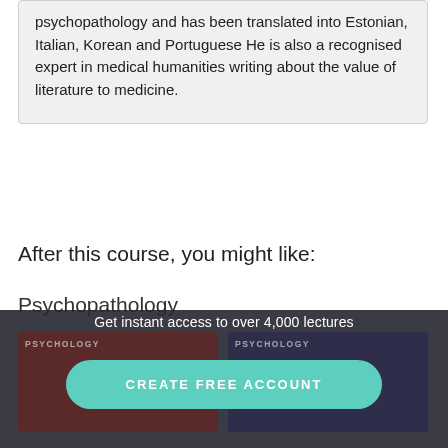psychopathology and has been translated into Estonian, Italian, Korean and Portuguese He is also a recognised expert in medical humanities writing about the value of literature to medicine.
After this course, you might like:
Psychopathology
[Figure (screenshot): Dark overlay with two psychology course thumbnails side by side, a CTA text 'Get instant access to over 4,000 lectures', and a teal rounded 'CREATE FREE ACCOUNT' button]